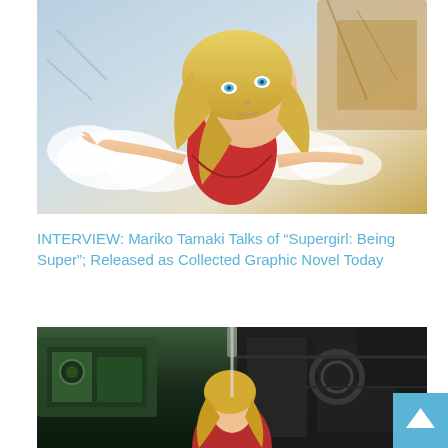[Figure (illustration): Comic book illustration of Supergirl with blonde hair and blue eyes, wearing a red top, floating/flying with arms outstretched against a sky background with clouds and debris]
INTERVIEW: Mariko Tamaki Talks of “Supergirl: Being Super”; Released as Collected Graphic Novel Today
[Figure (illustration): Comic book illustration showing a dark scene with machinery/robots and a female character with blonde hair in a red outfit]
[Figure (illustration): Scroll-to-top button with upward arrow icon on blue background]